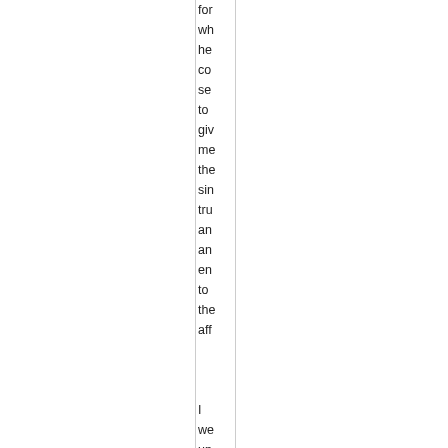for
wh
he
co
se
to
giv
me
the
sin
tru
an
an
en
to
the
aff



I
we
up
to